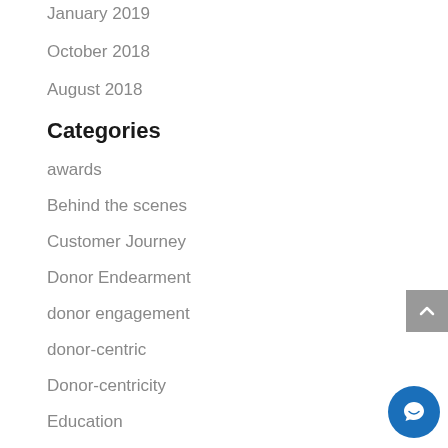January 2019
October 2018
August 2018
Categories
awards
Behind the scenes
Customer Journey
Donor Endearment
donor engagement
donor-centric
Donor-centricity
Education
Maximizing Investment Potential